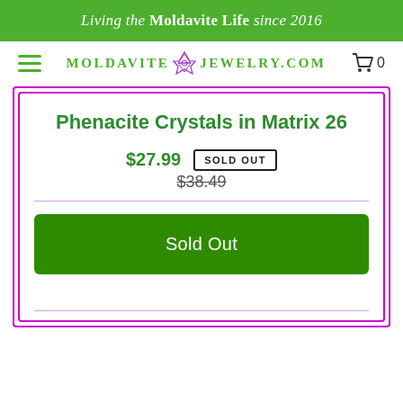Living the Moldavite Life since 2016
[Figure (logo): Moldavite Jewelry .com logo with hamburger menu and cart icon showing 0 items]
Phenacite Crystals in Matrix 26
$27.99  SOLD OUT  $38.49
Sold Out